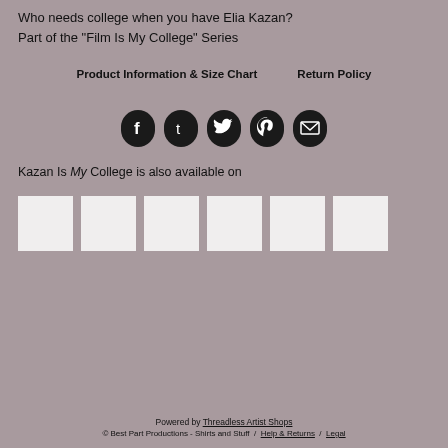Who needs college when you have Elia Kazan?
Part of the "Film Is My College" Series
Product Information & Size Chart    Return Policy
[Figure (other): Row of five social media icon buttons (Facebook, Tumblr, Twitter, Pinterest, Email) as dark circles with white icons]
Kazan Is My College is also available on
[Figure (other): Six white square thumbnail product images in a row]
Powered by Threadless Artist Shops
© Best Part Productions - Shirts and Stuff / Help & Returns / Legal